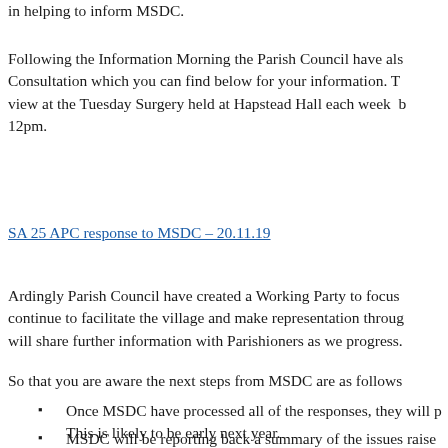in helping to inform MSDC.
Following the Information Morning the Parish Council have also obtained a copy of the Consultation which you can find below for your information. The document is also available to view at the Tuesday Surgery held at Hapstead Hall each week between 10am and 12pm.
SA 25 APC response to MSDC – 20.11.19
Ardingly Parish Council have created a Working Party to focus on this matter and will continue to facilitate the village and make representation throughout the process. We will share further information with Parishioners as we progress.
So that you are aware the next steps from MSDC are as follows:
Once MSDC have processed all of the responses, they will produce a report. This is likely to be early next year.
MSDC will be reporting back a summary of the issues raised and their response to these. Unfortunately they don't have the resources to respond to every individual submission.